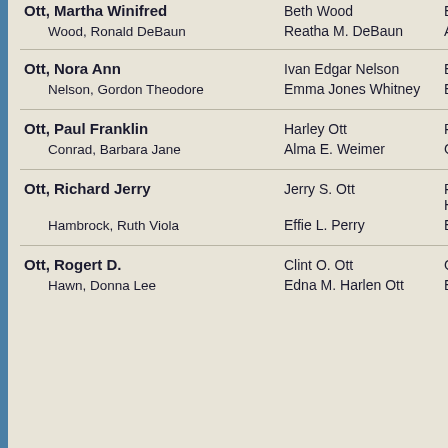| Name | Parent/Spouse | Other |
| --- | --- | --- |
| Ott, Martha Winifred | Beth Wood | Eu... |
| Wood, Ronald DeBaun | Reatha M. DeBaun | Am... |
| Ott, Nora Ann | Ivan Edgar Nelson | Ev... |
| Nelson, Gordon Theodore | Emma Jones Whitney | Els... |
| Ott, Paul Franklin | Harley Ott | Ric... |
| Conrad, Barbara Jane | Alma E. Weimer | Ga... |
| Ott, Richard Jerry | Jerry S. Ott | Ro... Ha... |
| Hambrock, Ruth Viola | Effie L. Perry | Eth... |
| Ott, Rogert D. | Clint O. Ott | Ge... |
| Hawn, Donna Lee | Edna M. Harlen Ott | Ele... |